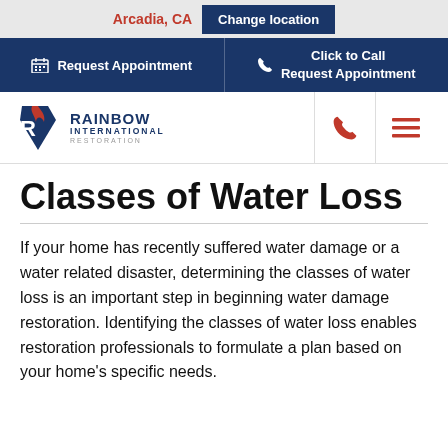Arcadia, CA  Change location
Request Appointment | Click to Call Request Appointment
[Figure (logo): Rainbow International Restoration logo with stylized R icon in red, white, and blue]
Classes of Water Loss
If your home has recently suffered water damage or a water related disaster, determining the classes of water loss is an important step in beginning water damage restoration. Identifying the classes of water loss enables restoration professionals to formulate a plan based on your home's specific needs.